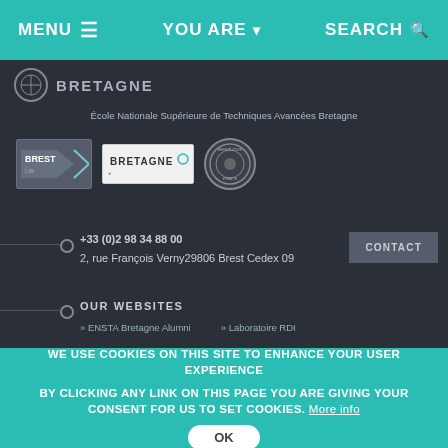MENU  YOU ARE  SEARCH
[Figure (logo): BRETAGNE text logo with circular emblem]
École Nationale Supérieure de Techniques Avancées Bretagne
[Figure (logo): Three partner logos: Brest Lib, Bretagne, and a circular stamp logo]
+33 (0)2 98 34 88 00
2, rue François Verny29806 Brest Cedex 09
CONTACT
OUR WEBSITES
» ENSTA Bretagne Alumni    » Laboratoire RDI
WE USE COOKIES ON THIS SITE TO ENHANCE YOUR USER EXPERIENCE

BY CLICKING ANY LINK ON THIS PAGE YOU ARE GIVING YOUR CONSENT FOR US TO SET COOKIES. More info

OK